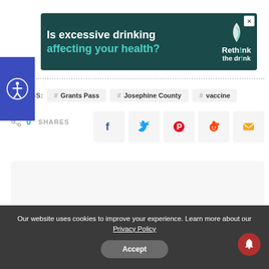[Figure (other): Advertisement banner: 'Is excessive drinking affecting your health? Rethink the drink' with teal and white text on dark background, with a bottle icon]
TAGS: # Grants Pass  # Josephine County  # vaccine
0 SHARES
[Figure (other): Social share buttons: Facebook, Twitter, Pinterest, Reddit, Email]
[Figure (other): Content placeholder area (light grey box)]
Our website uses cookies to improve your experience. Learn more about our Privacy Policy
Accept